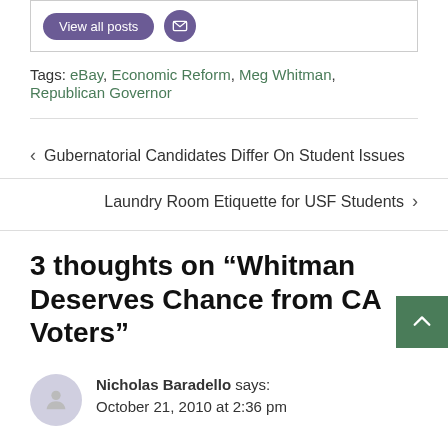[Figure (other): Box with 'View all posts' purple button and purple email icon button]
Tags: eBay, Economic Reform, Meg Whitman, Republican Governor
< Gubernatorial Candidates Differ On Student Issues
Laundry Room Etiquette for USF Students >
3 thoughts on “Whitman Deserves Chance from CA Voters”
Nicholas Baradello says: October 21, 2010 at 2:36 pm